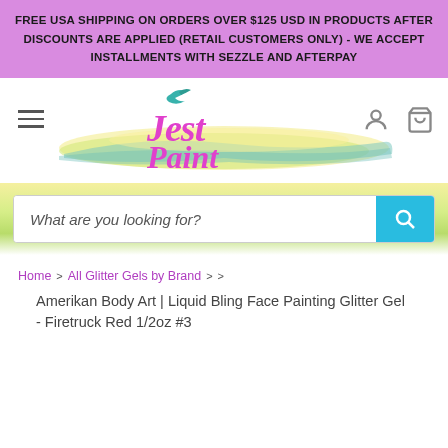FREE USA SHIPPING ON ORDERS OVER $125 USD IN PRODUCTS AFTER DISCOUNTS ARE APPLIED (RETAIL CUSTOMERS ONLY) - WE ACCEPT INSTALLMENTS WITH SEZZLE AND AFTERPAY
[Figure (logo): Jest Paint logo with colorful watercolor swoosh, magenta cursive text]
What are you looking for?
Home > All Glitter Gels by Brand > > Amerikan Body Art | Liquid Bling Face Painting Glitter Gel - Firetruck Red 1/2oz #3